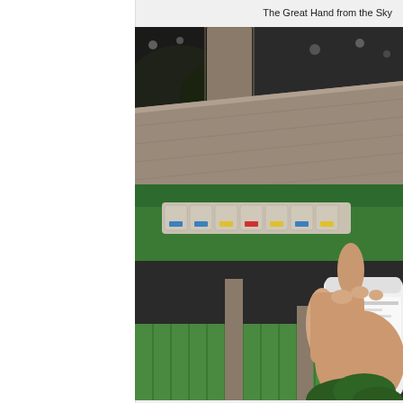The Great Hand from the Sky
[Figure (photo): Close-up photograph of a hand holding a white pill bottle or medication container, with a weekly pill organizer visible in the background on a green surface, outdoors with a wooden structure behind.]